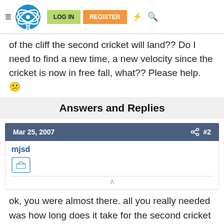LOG IN  REGISTER
of the cliff the second cricket will land?? Do I need to find a new time, a new velocity since the cricket is now in free fall, what?? Please help. 😕
Answers and Replies
Mar 25, 2007  #2
mjsd
ok, you were almost there. all you really needed was how long does it take for the second cricket to hit the ground? So working in